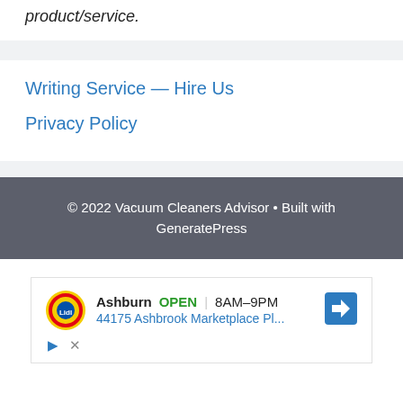product/service.
Writing Service — Hire Us
Privacy Policy
© 2022 Vacuum Cleaners Advisor • Built with GeneratePress
[Figure (other): Advertisement banner showing Lidl store in Ashburn, OPEN 8AM–9PM, 44175 Ashbrook Marketplace Pl..., with navigation arrow icon, play and close controls]